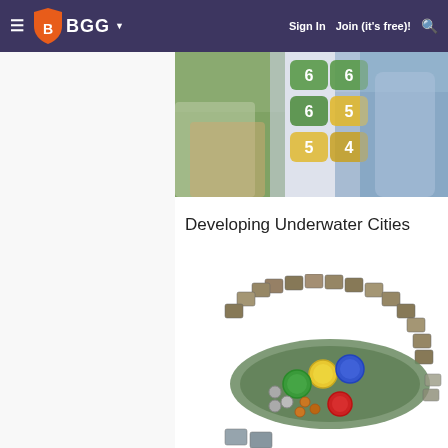BGG — Sign In | Join (it's free)!
[Figure (photo): Close-up photo of board game cards and tiles with colorful numbered tokens in green, yellow and blue colors]
Developing Underwater Cities
[Figure (photo): Board game component photo showing Underwater Cities game board with player pieces arranged in a semicircle, with colored resource tokens in yellow, green, blue and red]